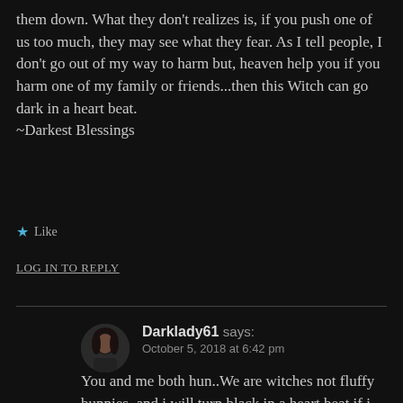them down. What they don't realizes is, if you push one of us too much, they may see what they fear. As I tell people, I don't go out of my way to harm but, heaven help you if you harm one of my family or friends...then this Witch can go dark in a heart beat. ~Darkest Blessings
★ Like
LOG IN TO REPLY
Darklady61 says: October 5, 2018 at 6:42 pm
You and me both hun..We are witches not fluffy bunnies..and i will turn black in a heart beat if i think someone has wronged another..and